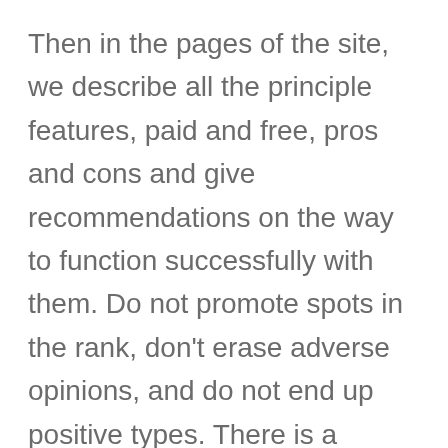Then in the pages of the site, we describe all the principle features, paid and free, pros and cons and give recommendations on the way to function successfully with them. Do not promote spots in the rank, don't erase adverse opinions, and do not end up positive types. There is a assistance that gathers a listing of scams on going out with websites in a single place. In the event that you where deceived and pulled out money, write about this in the assessments.
Madiha achieved her graduate studies in social work on the University or college Of Chi town